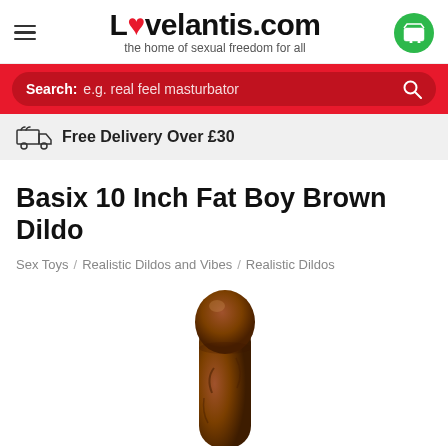Lovelantis.com — the home of sexual freedom for all
Search: e.g. real feel masturbator
Free Delivery Over £30
Basix 10 Inch Fat Boy Brown Dildo
Sex Toys / Realistic Dildos and Vibes / Realistic Dildos
[Figure (photo): Product photo of Basix 10 Inch Fat Boy Brown Dildo — a realistic brown dildo shown on a white background]